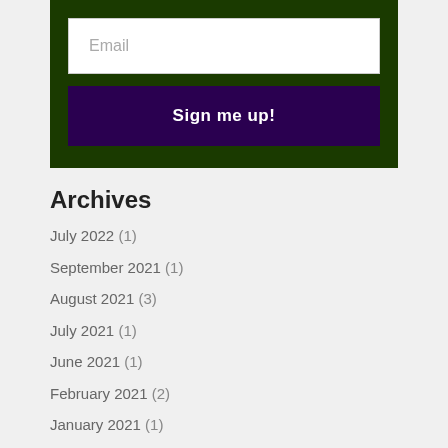[Figure (screenshot): Email signup form with a text input field labeled 'Email' and a dark purple button labeled 'Sign me up!' on a dark green background]
Archives
July 2022 (1)
September 2021 (1)
August 2021 (3)
July 2021 (1)
June 2021 (1)
February 2021 (2)
January 2021 (1)
December 2020 (2)